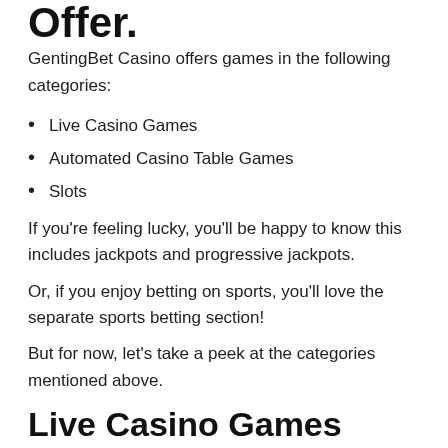Offer.
GentingBet Casino offers games in the following categories:
Live Casino Games
Automated Casino Table Games
Slots
If you're feeling lucky, you'll be happy to know this includes jackpots and progressive jackpots.
Or, if you enjoy betting on sports, you'll love the separate sports betting section!
But for now, let's take a peek at the categories mentioned above.
Live Casino Games
[Figure (photo): Row of five live casino game thumbnails with badges: LOW LIMIT (lady in black), EXCLUSIVE (man and woman), EXCLUSIVE (dealer), NEW CRAPS (craps table text), and a fifth lady in light setting.]